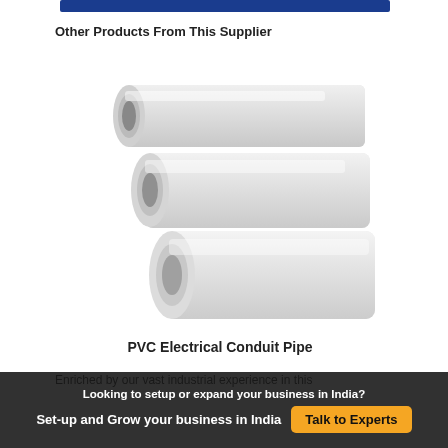Other Products From This Supplier
[Figure (photo): Three white PVC electrical conduit pipes arranged diagonally, showing the circular cross-sections at the ends.]
PVC Electrical Conduit Pipe
Enriched by our vast industrial experience in this
Looking to setup or expand your business in India?
Set-up and Grow your business in India  Talk to Experts